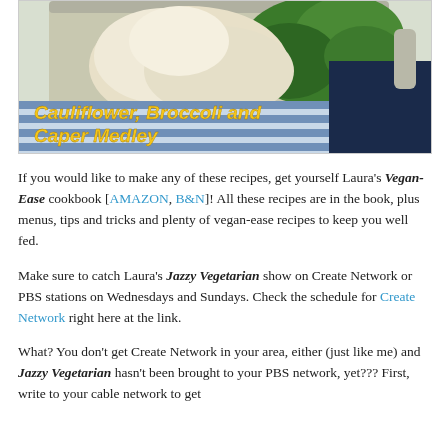[Figure (photo): Photo of a baking dish containing cauliflower and broccoli on a blue and white striped cloth, with text overlay reading 'Cauliflower, Broccoli and Caper Medley' in yellow italic font]
If you would like to make any of these recipes, get yourself Laura's Vegan-Ease cookbook [AMAZON, B&N]! All these recipes are in the book, plus menus, tips and tricks and plenty of vegan-ease recipes to keep you well fed.
Make sure to catch Laura's Jazzy Vegetarian show on Create Network or PBS stations on Wednesdays and Sundays. Check the schedule for Create Network right here at the link.
What? You don't get Create Network in your area, either (just like me) and Jazzy Vegetarian hasn't been brought to your PBS network, yet??? First, write to your cable network to get